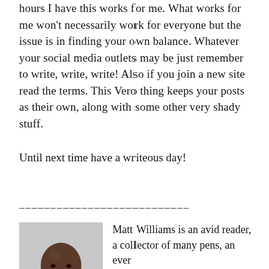hours I have this works for me. What works for me won't necessarily work for everyone but the issue is in finding your own balance. Whatever your social media outlets may be just remember to write, write, write! Also if you join a new site read the terms. This Vero thing keeps your posts as their own, along with some other very shady stuff.
Until next time have a writeous day!
___________________________
[Figure (photo): Headshot photo of Matt Williams, a bald Black man smiling, wearing dark clothing, against a light gray background.]
Matt Williams is an avid reader, a collector of many pens, an ever